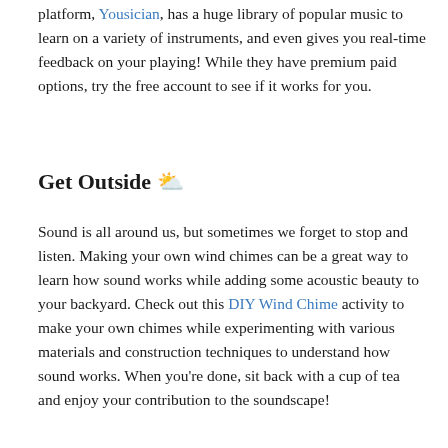platform, Yousician, has a huge library of popular music to learn on a variety of instruments, and even gives you real-time feedback on your playing! While they have premium paid options, try the free account to see if it works for you.
Get Outside ⛅
Sound is all around us, but sometimes we forget to stop and listen. Making your own wind chimes can be a great way to learn how sound works while adding some acoustic beauty to your backyard. Check out this DIY Wind Chime activity to make your own chimes while experimenting with various materials and construction techniques to understand how sound works. When you're done, sit back with a cup of tea and enjoy your contribution to the soundscape!